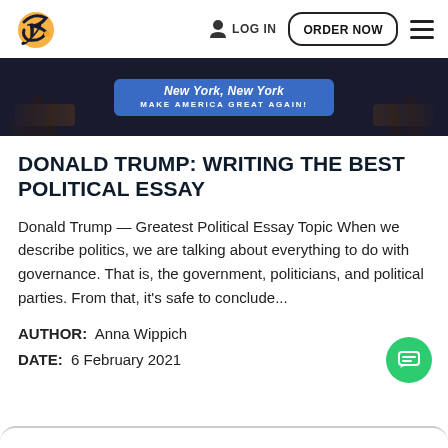LOG IN  ORDER NOW
[Figure (photo): Hero banner image with dark background showing a blue campaign sign reading 'New York, New York' and 'MAKE AMERICA GREAT AGAIN!' with hands visible on left and right sides]
DONALD TRUMP: WRITING THE BEST POLITICAL ESSAY
Donald Trump — Greatest Political Essay Topic When we describe politics, we are talking about everything to do with governance. That is, the government, politicians, and political parties. From that, it's safe to conclude...
AUTHOR: Anna Wippich
DATE: 6 February 2021